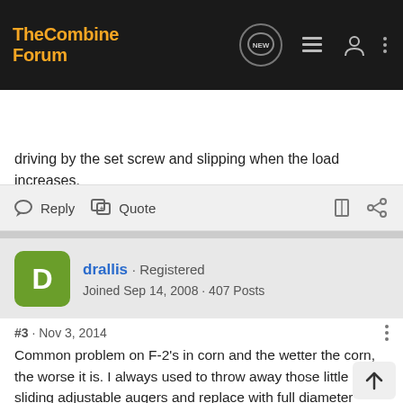[Figure (screenshot): TheCombineForum website navigation bar with logo, NEW button, menu icons, user icon, and more options dots]
[Figure (screenshot): Search Community search bar with magnifying glass icon on dark background]
driving by the set screw and slipping when the load increases.
Reply   Quote
drallis · Registered
Joined Sep 14, 2008 · 407 Posts
#3 · Nov 3, 2014
Common problem on F-2's in corn and the wetter the corn, the worse it is. I always used to throw away those little sliding adjustable augers and replace with full diameter auger flighting from the elevator out to the cross brace in the bin (about 18 to 24 inches) and cover it with a metal tube. Bin will fill more evenly and slip clutch issues will subside. I'm not saying the slip